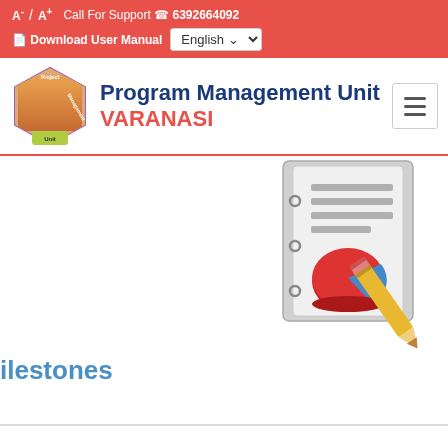A⁻ / A⁺  Call For Support ☎ 6392664092
Download User Manual  English
Program Management Unit VARANASI
[Figure (logo): Hexagonal logo with Program Management Unit text and group photo inside]
[Figure (illustration): Report editing icon: a binder/document with a red pie chart and a yellow pencil overlaid]
ilestones